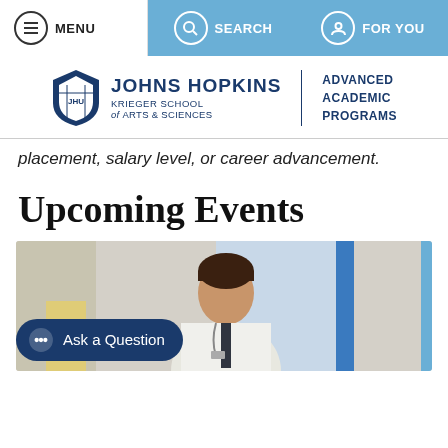MENU | SEARCH | FOR YOU
[Figure (logo): Johns Hopkins Krieger School of Arts & Sciences - Advanced Academic Programs logo]
placement, salary level, or career advancement.
Upcoming Events
[Figure (photo): A smiling man in a white lab coat with a lanyard, standing in a corridor with blue structural elements in the background.]
Ask a Question